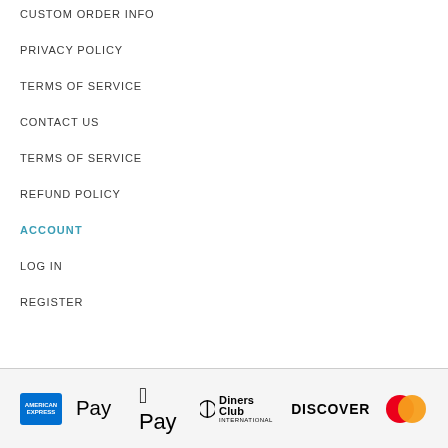CUSTOM ORDER INFO
PRIVACY POLICY
TERMS OF SERVICE
CONTACT US
TERMS OF SERVICE
REFUND POLICY
ACCOUNT
LOG IN
REGISTER
[Figure (logo): Payment method logos: American Express, Apple Pay, Diners Club International, Discover, Mastercard]